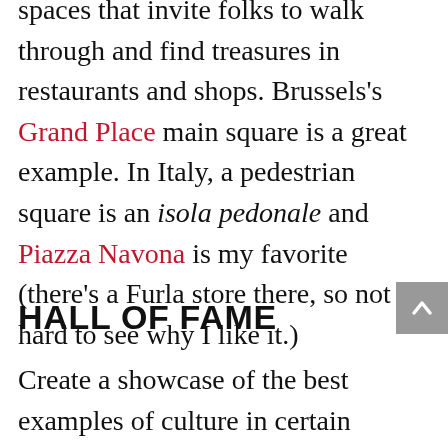spaces that invite folks to walk through and find treasures in restaurants and shops. Brussels's Grand Place main square is a great example. In Italy, a pedestrian square is an isola pedonale and Piazza Navona is my favorite (there's a Furla store there, so not hard to see why I like it.)
HALL OF FAME
Create a showcase of the best examples of culture in certain categories. There's the Country